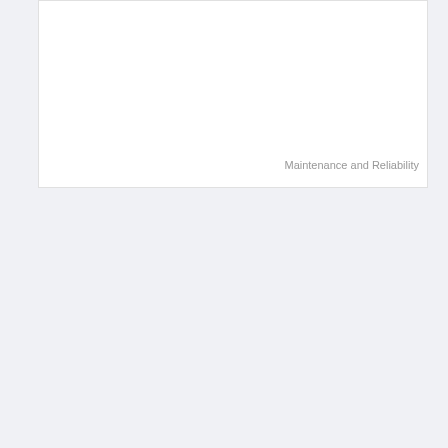[Figure (other): White card/panel area at top of page, mostly blank with a footer label reading 'Maintenance and Reliability']
Maintenance and Reliability